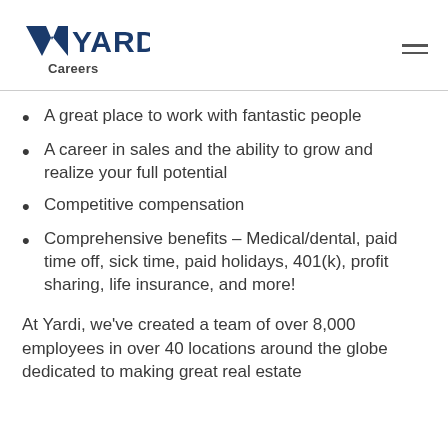YARDI Careers
A great place to work with fantastic people
A career in sales and the ability to grow and realize your full potential
Competitive compensation
Comprehensive benefits – Medical/dental, paid time off, sick time, paid holidays, 401(k), profit sharing, life insurance, and more!
At Yardi, we've created a team of over 8,000 employees in over 40 locations around the globe dedicated to making great real estate software and for t...